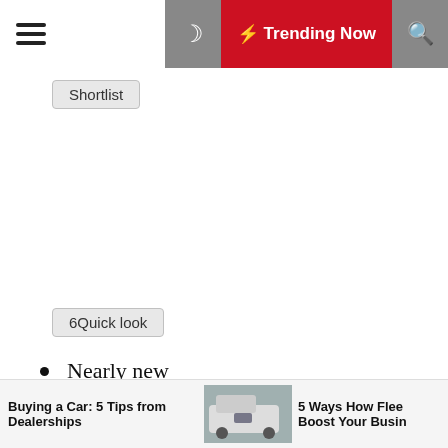Trending Now
Shortlist
6Quick look
Nearly new
58.9 MPG*
Hatchback
Petrol
Orange
From £11,498£159 per month
Save £5137 on cost new today
View this car's full finance example
Buying a Car: 5 Tips from Dealerships | 5 Ways How Flee Boost Your Busin